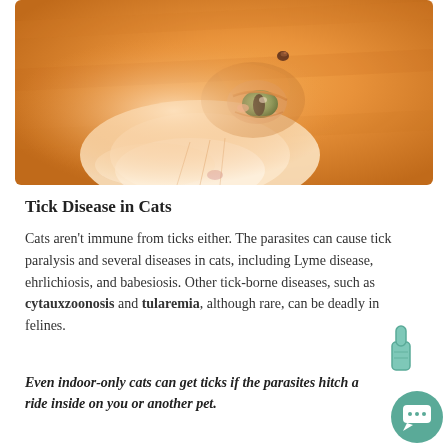[Figure (photo): Close-up photo of an orange/ginger cat's face, showing a tick embedded near its eye area. The tick is visible as a small dark bump on the cat's fur above the eye.]
Tick Disease in Cats
Cats aren't immune from ticks either. The parasites can cause tick paralysis and several diseases in cats, including Lyme disease, ehrlichiosis, and babesiosis. Other tick-borne diseases, such as cytauxzoonosis and tularemia, although rare, can be deadly in felines.
Even indoor-only cats can get ticks if the parasites hitch a ride inside on you or another pet.